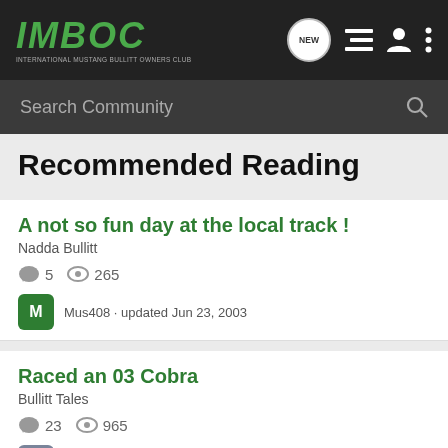IMBOC - INTERNATIONAL MUSTANG BULLITT OWNERS CLUB
Recommended Reading
A not so fun day at the local track !
Nadda Bullitt
5 comments  265 views
Mus408 · updated Jun 23, 2003
Raced an 03 Cobra
Bullitt Tales
23 comments  965 views
merc50 · updated Aug 5, 2002